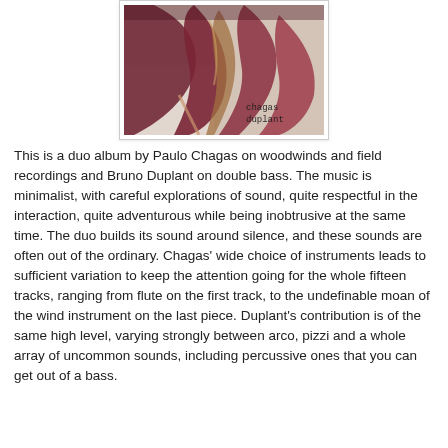[Figure (photo): Album cover photo showing dark red/maroon dried plant material or abstract organic shapes on a light background, with text 'chagas duplant' in typewriter font at lower right]
This is a duo album by Paulo Chagas on woodwinds and field recordings and Bruno Duplant on double bass. The music is minimalist, with careful explorations of sound, quite respectful in the interaction, quite adventurous while being inobtrusive at the same time. The duo builds its sound around silence, and these sounds are often out of the ordinary. Chagas' wide choice of instruments leads to sufficient variation to keep the attention going for the whole fifteen tracks, ranging from flute on the first track, to the undefinable moan of the wind instrument on the last piece. Duplant's contribution is of the same high level, varying strongly between arco, pizzi and a whole array of uncommon sounds, including percussive ones that you can get out of a bass.